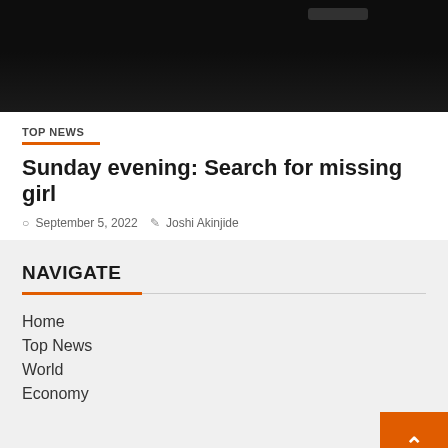[Figure (photo): Dark nighttime photo showing water reflections and faint boat lights]
TOP NEWS
Sunday evening: Search for missing girl
September 5, 2022   Joshi Akinjide
NAVIGATE
Home
Top News
World
Economy